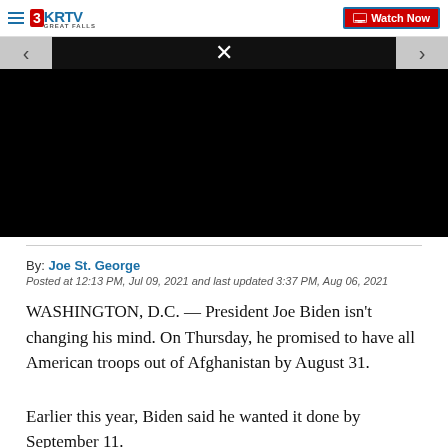3KRTV Great Falls | Watch Now
[Figure (screenshot): Video player with black screen, X close button, left and right carousel arrows on gray side panels]
By: Joe St. George
Posted at 12:13 PM, Jul 09, 2021 and last updated 3:37 PM, Aug 06, 2021
WASHINGTON, D.C. — President Joe Biden isn't changing his mind. On Thursday, he promised to have all American troops out of Afghanistan by August 31.
Earlier this year, Biden said he wanted it done by September 11.